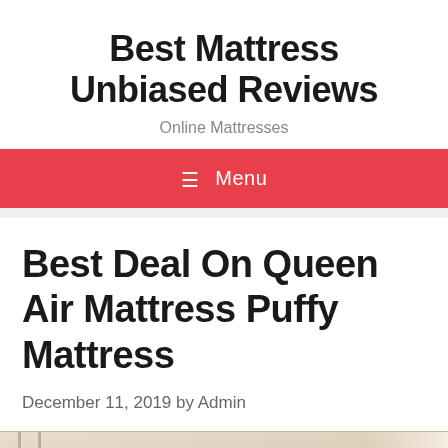Best Mattress Unbiased Reviews
Online Mattresses
≡ Menu
Best Deal On Queen Air Mattress Puffy Mattress
December 11, 2019 by Admin
[Figure (photo): Partial view of a mattress image at the bottom of the page]